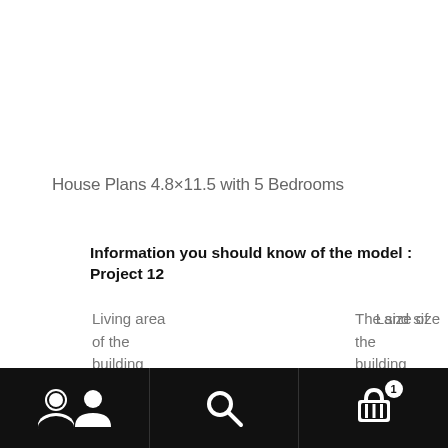House Plans 4.8×11.5 with 5 Bedrooms
Information you should know of the model : Project 12
Living area of the building
The size of the building
Land size
[navigation bar with user, search, and cart icons]